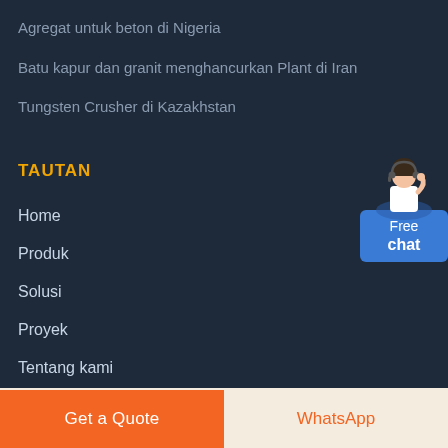Agregat untuk beton di Nigeria
Batu kapur dan granit menghancurkan Plant di Iran
Tungsten Crusher di Kazakhstan
TAUTAN
[Figure (illustration): Customer service representative figure with headset standing behind a blue 'Free chat' button widget]
Home
Produk
Solusi
Proyek
Tentang kami
Hubungi kami
Get a Quote
WhatsApp